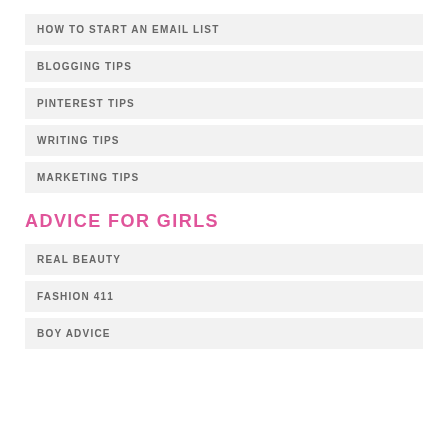HOW TO START AN EMAIL LIST
BLOGGING TIPS
PINTEREST TIPS
WRITING TIPS
MARKETING TIPS
ADVICE FOR GIRLS
REAL BEAUTY
FASHION 411
BOY ADVICE